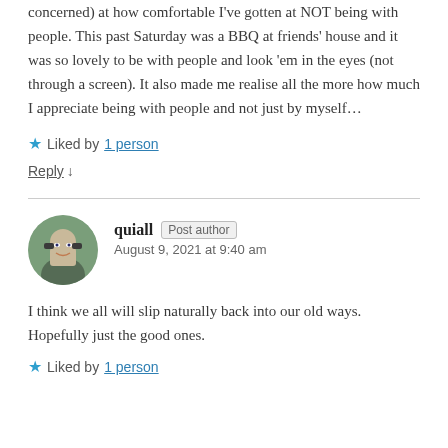concerned) at how comfortable I've gotten at NOT being with people. This past Saturday was a BBQ at friends' house and it was so lovely to be with people and look 'em in the eyes (not through a screen). It also made me realise all the more how much I appreciate being with people and not just by myself…
Liked by 1 person
Reply ↓
quiall Post author August 9, 2021 at 9:40 am
I think we all will slip naturally back into our old ways. Hopefully just the good ones.
Liked by 1 person